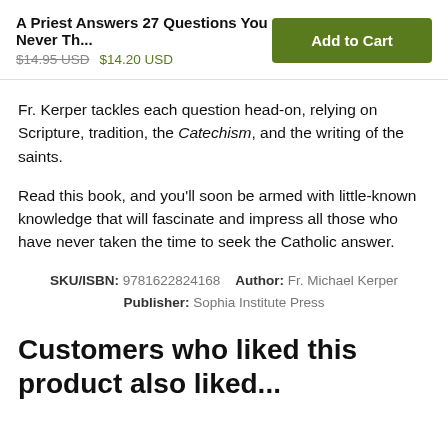A Priest Answers 27 Questions You Never Th...
$14.95 USD  $14.20 USD
Fr. Kerper tackles each question head-on, relying on Scripture, tradition, the Catechism, and the writing of the saints.
Read this book, and you'll soon be armed with little-known knowledge that will fascinate and impress all those who have never taken the time to seek the Catholic answer.
SKU/ISBN: 9781622824168   Author: Fr. Michael Kerper   Publisher: Sophia Institute Press
Customers who liked this product also liked...